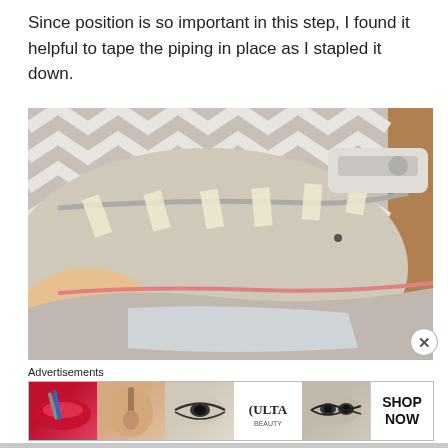Since position is so important in this step, I found it helpful to tape the piping in place as I stapled it down.
[Figure (photo): Close-up photo of a hand holding a fabric-covered object (likely a headboard or cushion) with chevron/zigzag pattern fabric and piping taped in place with masking tape strips before stapling. A staple gun is visible in the upper right corner.]
Advertisements
[Figure (photo): ULTA Beauty advertisement banner showing makeup images (lips with lipstick, brush, eye makeup, ULTA logo, eye close-ups) with 'SHOP NOW' text on the right side.]